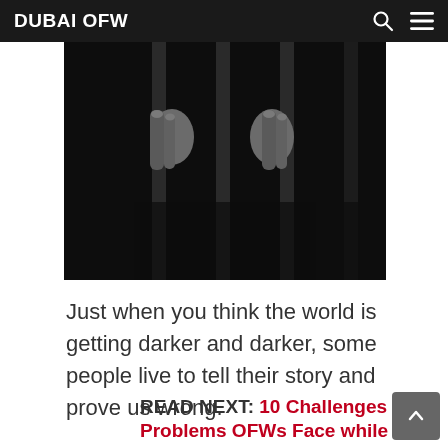DUBAI OFW
[Figure (photo): Black and white photo of two hands gripping vertical prison bars, close-up shot against a dark background.]
Just when you think the world is getting darker and darker, some people live to tell their story and prove us wrong.
READ NEXT: 10 Challenges and Problems OFWs Face while